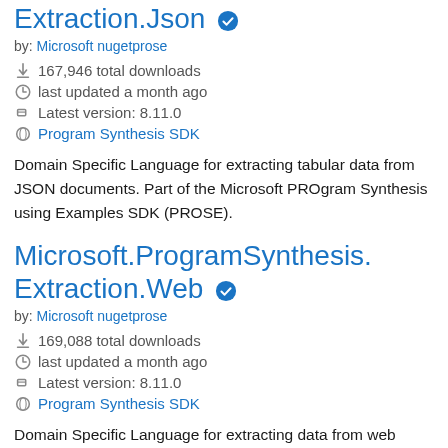Extraction.Json ✓
by: Microsoft nugetprose
167,946 total downloads
last updated a month ago
Latest version: 8.11.0
Program Synthesis SDK
Domain Specific Language for extracting tabular data from JSON documents. Part of the Microsoft PROgram Synthesis using Examples SDK (PROSE).
Microsoft.ProgramSynthesis.Extraction.Web ✓
by: Microsoft nugetprose
169,088 total downloads
last updated a month ago
Latest version: 8.11.0
Program Synthesis SDK
Domain Specific Language for extracting data from web pages. Part of the Microsoft PROgram Synthesis using